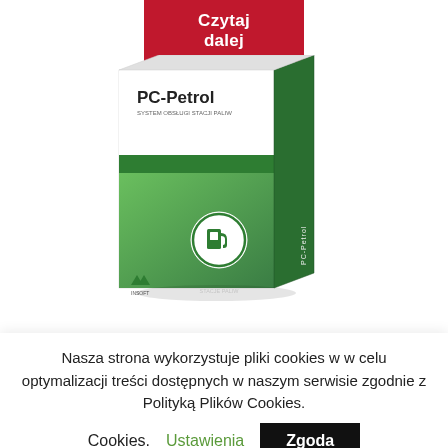Czytaj dalej
[Figure (illustration): PC-Petrol software box product image with green gradient design and fuel pump icon]
PC Petrol
Nasza strona wykorzystuje pliki cookies w w celu optymalizacji treści dostępnych w naszym serwisie zgodnie z Polityką Plików Cookies.
Ustawienia   Zgoda